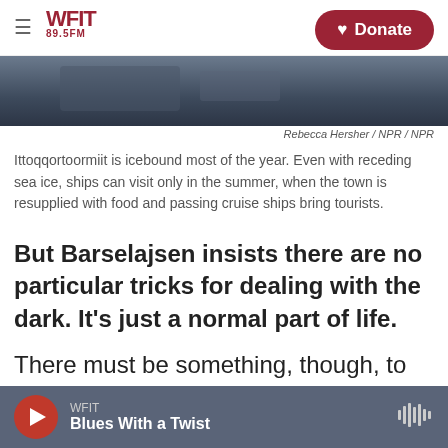WFIT 89.5FM — Donate
[Figure (photo): Partial view of a dark blue/grey image, likely a landscape or coastal scene, partially cut off at top of page.]
Rebecca Hersher / NPR / NPR
Ittoqqortoormiit is icebound most of the year. Even with receding sea ice, ships can visit only in the summer, when the town is resupplied with food and passing cruise ships bring tourists.
But Barselajsen insists there are no particular tricks for dealing with the dark. It's just a normal part of life.
There must be something, though, to keep a person happy without the sun. Right?
Barselajsen smiles. "I haven't seen them," she
WFIT — Blues With a Twist